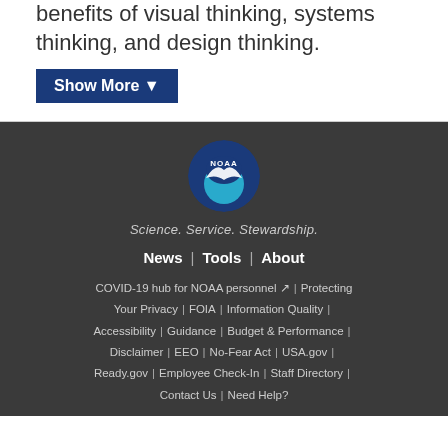benefits of visual thinking, systems thinking, and design thinking.
Show More ▼
[Figure (logo): NOAA circular logo with blue background and white bird/wave design and 'NOAA' text]
Science. Service. Stewardship.
News | Tools | About
COVID-19 hub for NOAA personnel ↗ | Protecting Your Privacy | FOIA | Information Quality | Accessibility | Guidance | Budget & Performance | Disclaimer | EEO | No-Fear Act | USA.gov | Ready.gov | Employee Check-In | Staff Directory | Contact Us | Need Help?